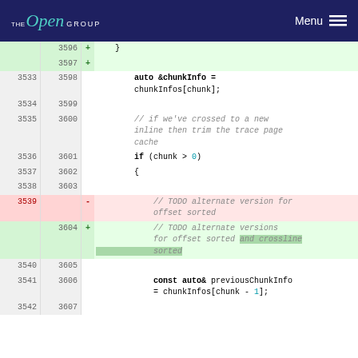The Open Group — Menu
| old-ln | new-ln | op | code |
| --- | --- | --- | --- |
|  | 3596 | + |     } |
|  | 3597 | + |  |
| 3533 | 3598 |  |         auto &chunkInfo = chunkInfos[chunk]; |
| 3534 | 3599 |  |  |
| 3535 | 3600 |  |         // if we've crossed to a new inline then trim the trace page cache |
| 3536 | 3601 |  |         if (chunk > 0) |
| 3537 | 3602 |  |         { |
| 3538 | 3603 |  |  |
| 3539 |  | - |             // TODO alternate version for offset sorted |
|  | 3604 | + |             // TODO alternate versions for offset sorted and crossline sorted |
| 3540 | 3605 |  |  |
| 3541 | 3606 |  |             const auto& previousChunkInfo = chunkInfoos[chunk - 1]; |
| 3542 | 3607 |  |  |